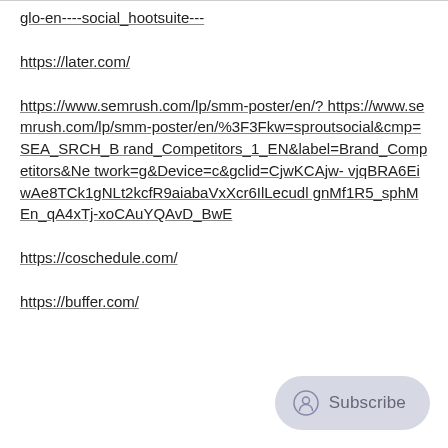glo-en----social_hootsuite---
https://later.com/
https://www.semrush.com/lp/smm-poster/en/?
https://www.semrush.com/lp/smm-poster/en/%3F3Fkw=sproutsocial&cmp=SEA_SRCH_Brand_Competitors_1_EN&label=Brand_Competitors&Network=g&Device=c&gclid=CjwKCAjw-vjqBRA6EiwAe8TCk1gNLt2kcfR9aiabaVxXcr6IlLecudlgnMf1R5_sphMEn_qA4xTj-xoCAuYQAvD_BwE
https://coschedule.com/
https://buffer.com/